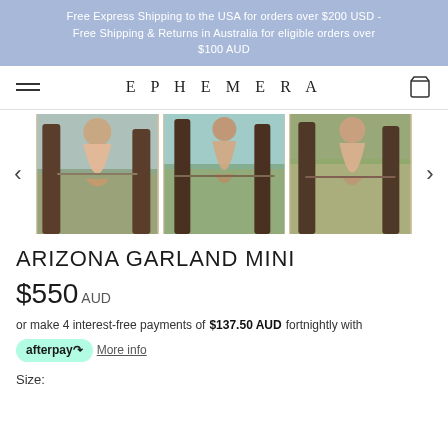Free Express Shipping to the USA for orders over $200 USD - Free Shipping & Returns in Australia for eligible orders over $100 AUD
[Figure (logo): Ephemera brand navigation bar with hamburger menu, EPHEMERA wordmark, and shopping bag icon]
[Figure (photo): Three product photos of Arizona Garland Mini dress shown from different angles, with left and right navigation arrows]
ARIZONA GARLAND MINI
$550 AUD
or make 4 interest-free payments of $137.50 AUD fortnightly with afterpay. More info
Size: